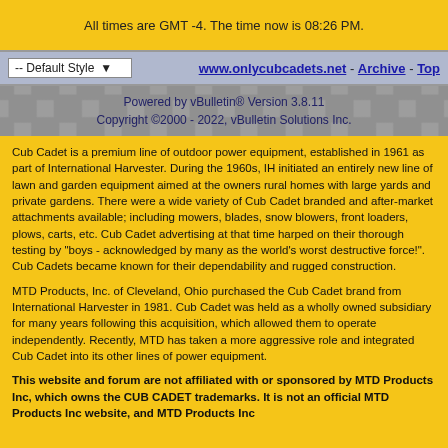All times are GMT -4. The time now is 08:26 PM.
-- Default Style   www.onlycubcadets.net - Archive - Top
Powered by vBulletin® Version 3.8.11
Copyright ©2000 - 2022, vBulletin Solutions Inc.
Cub Cadet is a premium line of outdoor power equipment, established in 1961 as part of International Harvester. During the 1960s, IH initiated an entirely new line of lawn and garden equipment aimed at the owners rural homes with large yards and private gardens. There were a wide variety of Cub Cadet branded and after-market attachments available; including mowers, blades, snow blowers, front loaders, plows, carts, etc. Cub Cadet advertising at that time harped on their thorough testing by "boys - acknowledged by many as the world's worst destructive force!". Cub Cadets became known for their dependability and rugged construction.
MTD Products, Inc. of Cleveland, Ohio purchased the Cub Cadet brand from International Harvester in 1981. Cub Cadet was held as a wholly owned subsidiary for many years following this acquisition, which allowed them to operate independently. Recently, MTD has taken a more aggressive role and integrated Cub Cadet into its other lines of power equipment.
This website and forum are not affiliated with or sponsored by MTD Products Inc, which owns the CUB CADET trademarks. It is not an official MTD Products Inc website, and MTD Products Inc